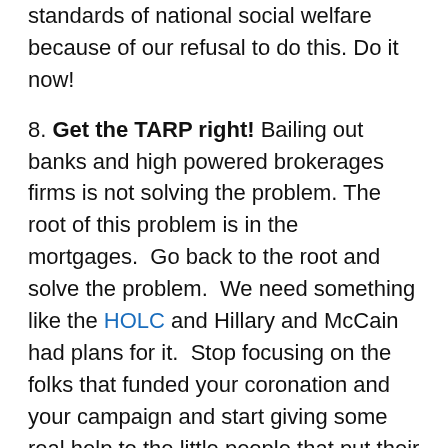OTHER DEVELOPED nations is ahead of us in most standards of national social welfare because of our refusal to do this. Do it now!
8. Get the TARP right! Bailing out banks and high powered brokerages firms is not solving the problem. The root of this problem is in the mortgages.  Go back to the root and solve the problem.  We need something like the HOLC and Hillary and McCain had plans for it.  Stop focusing on the folks that funded your coronation and your campaign and start giving some real help to the little people that put their faith in you.  The liberal/progressive thing to do is to help the little guy, remember?
I actually could add to this list and it would include some big things like looking at social security and medicare, but since we're talking 100 days, I'll hold it to these items.  Got any to add?